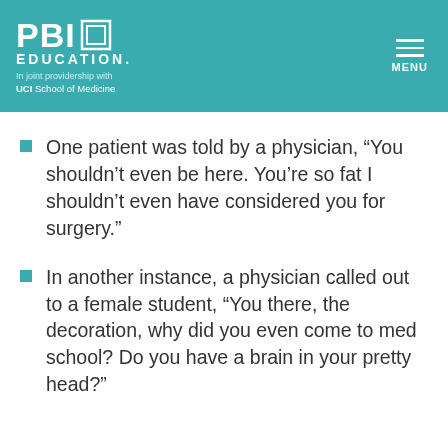[Figure (logo): PBI Education logo with UCI School of Medicine co-branding on teal header background, with hamburger menu icon and MENU label on the right]
One patient was told by a physician, “You shouldn’t even be here. You’re so fat I shouldn’t even have considered you for surgery.”
In another instance, a physician called out to a female student, “You there, the decoration, why did you even come to med school? Do you have a brain in your pretty head?”